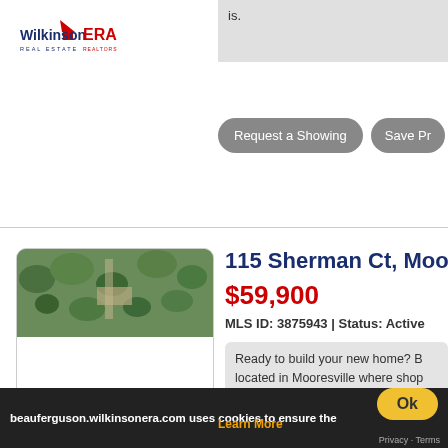[Figure (logo): Wilkinson ERA Real Estate logo, top left]
is.
Request a Showing
Save Pr
[Figure (photo): Aerial view of property at 115 Sherman Ct, Mooresville]
115 Sherman Ct, Moo
$59,900
MLS ID: 3875943 | Status: Active
Ready to build your new home? B located in Mooresville where shop away. Enjoy this beautiful neighbo
[Figure (logo): Wilkinson ERA Real Estate logo, bottom left]
Request a Showing
Save Pr
[Figure (photo): Third listing aerial/tree view]
00 Lodge Dr, H
$62,500
beauferguson.wilkinsonera.com uses cookies to ensure the
Learn More
Ok
Privacy · Terms